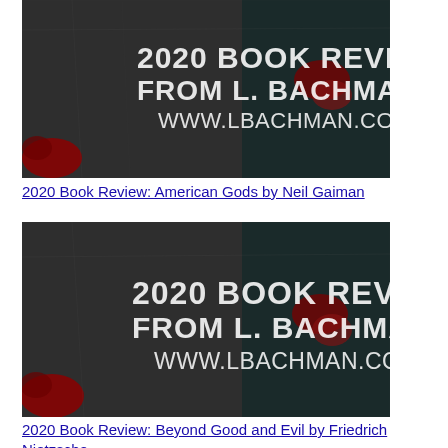[Figure (photo): Book review banner image with dark grunge background showing '2020 BOOK REVIEWS FROM L. BACHMAN www.lbachman.com' text in white letters]
2020 Book Review: American Gods by Neil Gaiman
[Figure (photo): Book review banner image with dark grunge background showing '2020 BOOK REVIEWS FROM L. BACHMAN www.lbachman.com' text in white letters]
2020 Book Review: Beyond Good and Evil by Friedrich Nietzsche